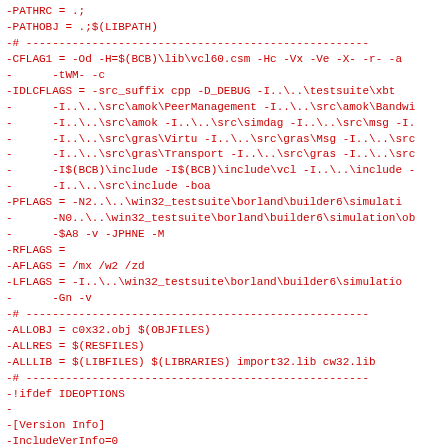-PATHRC = .;
-PATHOBJ = .;$(LIBPATH)
-# -------------------------------------------------------------------
-CFLAG1 = -Od -H=$(BCB)\lib\vcl60.csm -Hc -Vx -Ve -X- -r- -a
-      -tWM- -c
-IDLCFLAGS = -src_suffix cpp -D_DEBUG -I..\..\testsuite\xbt
-      -I..\..\src\amok\PeerManagement -I..\..\src\amok\Bandwi
-      -I..\..\src\amok -I..\..\src\simdag -I..\..\src\msg -I.
-      -I..\..\src\gras\Virtu -I..\..\src\gras\Msg -I..\..\src
-      -I..\..\src\gras\Transport -I..\..\src\gras -I..\..\src
-      -I$(BCB)\include -I$(BCB)\include\vcl -I..\..\include -
-      -I..\..\src\include -boa
-PFLAGS = -N2..\..\win32_testsuite\borland\builder6\simulati
-      -N0..\..\win32_testsuite\borland\builder6\simulation\ob
-      -$A8 -v -JPHNE -M
-RFLAGS =
-AFLAGS = /mx /w2 /zd
-LFLAGS = -I..\..\win32_testsuite\borland\builder6\simulatio
-      -Gn -v
-# -------------------------------------------------------------------
-ALLOBJ = c0x32.obj $(OBJFILES)
-ALLRES = $(RESFILES)
-ALLLIB = $(LIBFILES) $(LIBRARIES) import32.lib cw32.lib
-# -------------------------------------------------------------------
-!ifdef IDEOPTIONS
-
-[Version Info]
-IncludeVerInfo=0
-AutoIncBuild=0
-MajorVer=1
-MinorVer=0
-Release=0